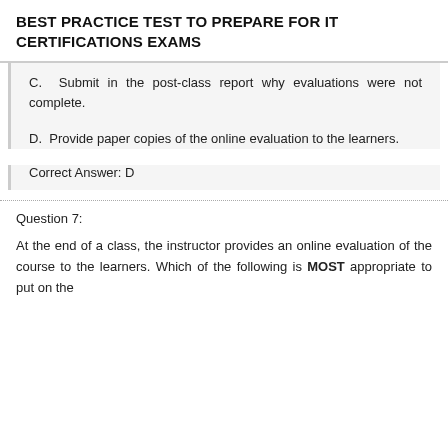BEST PRACTICE TEST TO PREPARE FOR IT CERTIFICATIONS EXAMS
C. Submit in the post-class report why evaluations were not complete.
D. Provide paper copies of the online evaluation to the learners.
Correct Answer: D
Question 7:
At the end of a class, the instructor provides an online evaluation of the course to the learners. Which of the following is MOST appropriate to put on the evaluation? (Select TWO)